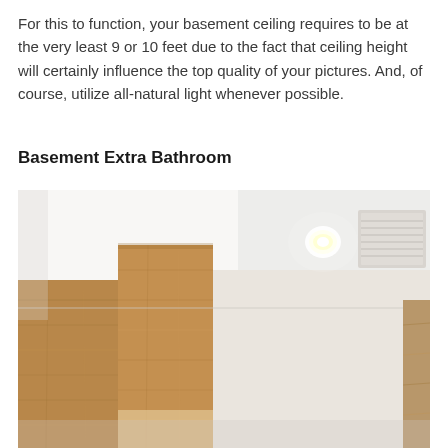For this to function, your basement ceiling requires to be at the very least 9 or 10 feet due to the fact that ceiling height will certainly influence the top quality of your pictures. And, of course, utilize all-natural light whenever possible.
Basement Extra Bathroom
[Figure (photo): Interior photo of a modern basement bathroom showing a white ceiling with a recessed spotlight and a square ventilation duct, wooden cabinet panels on the left and far right, and pale beige walls.]